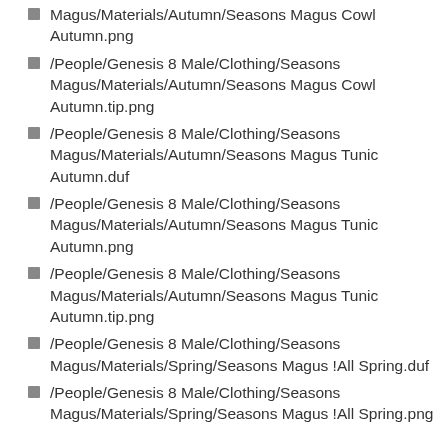Magus/Materials/Autumn/Seasons Magus Cowl Autumn.png
/People/Genesis 8 Male/Clothing/Seasons Magus/Materials/Autumn/Seasons Magus Cowl Autumn.tip.png
/People/Genesis 8 Male/Clothing/Seasons Magus/Materials/Autumn/Seasons Magus Tunic Autumn.duf
/People/Genesis 8 Male/Clothing/Seasons Magus/Materials/Autumn/Seasons Magus Tunic Autumn.png
/People/Genesis 8 Male/Clothing/Seasons Magus/Materials/Autumn/Seasons Magus Tunic Autumn.tip.png
/People/Genesis 8 Male/Clothing/Seasons Magus/Materials/Spring/Seasons Magus !All Spring.duf
/People/Genesis 8 Male/Clothing/Seasons Magus/Materials/Spring/Seasons Magus !All Spring.png